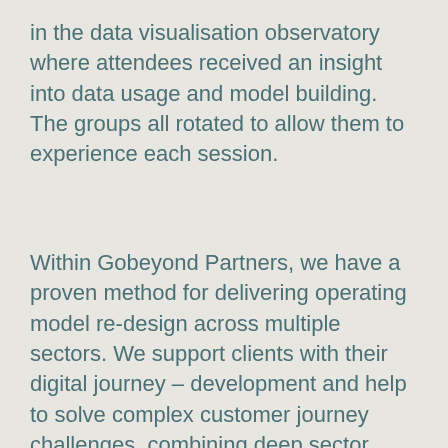in the data visualisation observatory where attendees received an insight into data usage and model building. The groups all rotated to allow them to experience each session.
Within Gobeyond Partners, we have a proven method for delivering operating model re-design across multiple sectors. We support clients with their digital journey – development and help to solve complex customer journey challenges, combining deep sector expertise with an award-winning approach to client service and value. Discover more about the work we do in our service portfolio.
To read about our previous online events in The Future of Service series, check out our